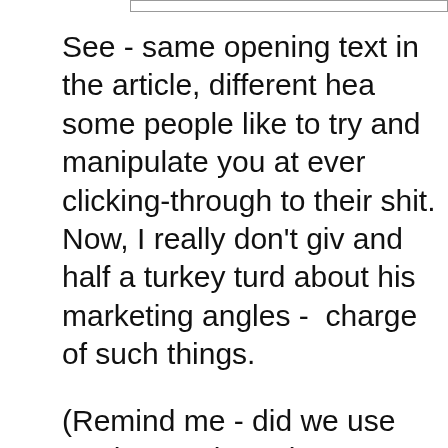See - same opening text in the article, different hea some people like to try and manipulate you at ever clicking-through to their shit.  Now, I really don't giv and half a turkey turd about his marketing angles - charge of such things.
(Remind me - did we use modern Jurisprudence w Cowboys played the Indians a few dozen generatio that mean Bob endorses the same tactics against a considers to be a "Communist"?)  And don't write m confused - because I DO advocate scorched-Earth Commies.  The problem is Bob is calling YOU a Co Right-wing extremist who doesn't believe in backgr bending knees to Neil & Bob for Rights given to us
I do take issue with the characterization that if one one must be a Communist.  Some of you sharper